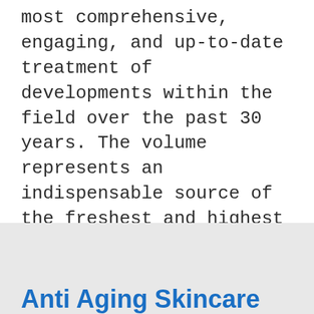most comprehensive, engaging, and up-to-date treatment of developments within the field over the past 30 years. The volume represents an indispensable source of the freshest and highest standard scholarship for scholars, policy makers, and aging professionals alike. The Handbook of Sociology of Aging contains 45 far-reaching chapters, authored by nearly 80 of the most renowned experts, on the most pressing topics related to aging today. With its recurring attention to the social forces that shape
Anti Aging Skincare